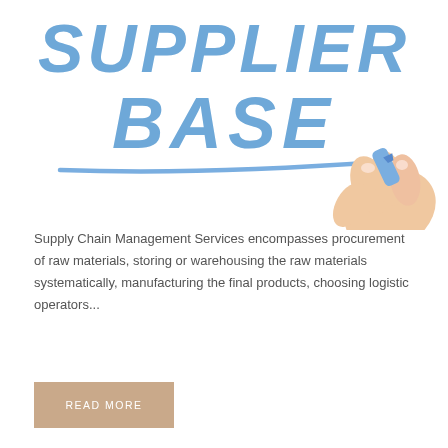[Figure (illustration): Handwritten-style text reading 'SUPPLIER BASE' in blue marker font with a blue underline stroke, accompanied by a photograph of a hand holding a blue marker pen.]
Supply Chain Management Services encompasses procurement of raw materials, storing or warehousing the raw materials systematically, manufacturing the final products, choosing logistic operators...
READ MORE